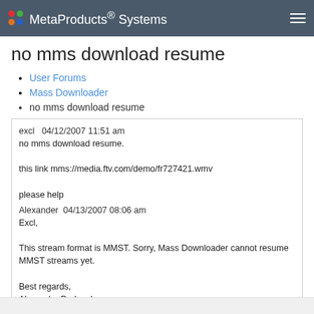MetaProducts® Systems
no mms download resume
User Forums
Mass Downloader
no mms download resume
excl  04/12/2007 11:51 am
no mms download resume.

this link mms://media.ftv.com/demo/fr727421.wmv

please help
Alexander  04/13/2007 08:06 am
Excl,

This stream format is MMST. Sorry, Mass Downloader cannot resume MMST streams yet.

Best regards,
Alexander Bednyakov
MP Staff